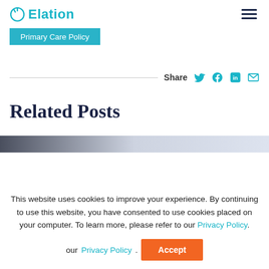Elation
Primary Care Policy
Share
Related Posts
This website uses cookies to improve your experience. By continuing to use this website, you have consented to use cookies placed on your computer. To learn more, please refer to our Privacy Policy.